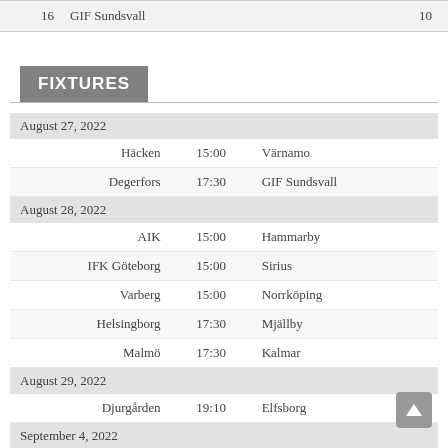| # | Team | Pts |
| --- | --- | --- |
| 16 | GIF Sundsvall | 10 |
FIXTURES
| Home | Time | Away |
| --- | --- | --- |
| August 27, 2022 |  |  |
| Häcken | 15:00 | Värnamo |
| Degerfors | 17:30 | GIF Sundsvall |
| August 28, 2022 |  |  |
| AIK | 15:00 | Hammarby |
| IFK Göteborg | 15:00 | Sirius |
| Varberg | 15:00 | Norrköping |
| Helsingborg | 17:30 | Mjällby |
| Malmö | 17:30 | Kalmar |
| August 29, 2022 |  |  |
| Djurgården | 19:10 | Elfsborg |
| September 4, 2022 |  |  |
| Häcken | 15:00 | Degerfors |